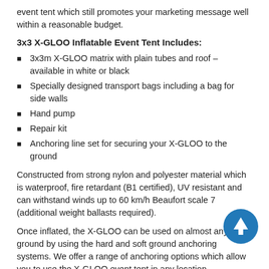event tent which still promotes your marketing message well within a reasonable budget.
3x3 X-GLOO Inflatable Event Tent Includes:
3x3m X-GLOO matrix with plain tubes and roof – available in white or black
Specially designed transport bags including a bag for side walls
Hand pump
Repair kit
Anchoring line set for securing your X-GLOO to the ground
Constructed from strong nylon and polyester material which is waterproof, fire retardant (B1 certified), UV resistant and can withstand winds up to 60 km/h Beaufort scale 7 (additional weight ballasts required).
Once inflated, the X-GLOO can be used on almost any ground by using the hard and soft ground anchoring systems. We offer a range of anchoring options which allow you to use the X-GLOO event tent in any location.
Also available is an X-GLOO 3x3 unbranded which comes in a choice of 2 fabric colours as standard. If you wish to brand your X-GLOO further, please contact us or telephone 01733…